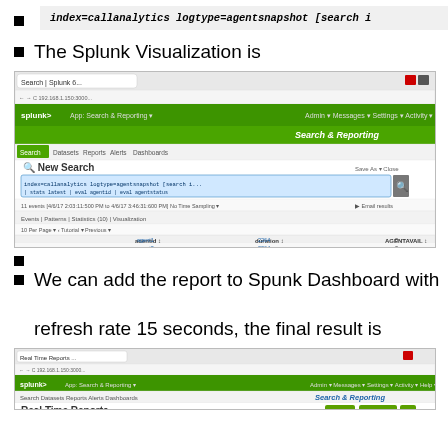index=callanalytics logtype=agentsnapshot [search i
The Splunk Visualization is
[Figure (screenshot): Splunk Search & Reporting interface showing a New Search with agentsnapshot query results in a table with columns agent, queue, and agentid. Green navigation bar with Search, Dataset, Reports, Alerts, Dashboards tabs.]
We can add the report to Spunk Dashboard with refresh rate 15 seconds, the final result is
[Figure (screenshot): Splunk Search & Reporting Real Time Reports dashboard showing Real Time Calls in Queue for Split xxxxx and Real Time Top 10 ACD Agents with Reason Code panels.]